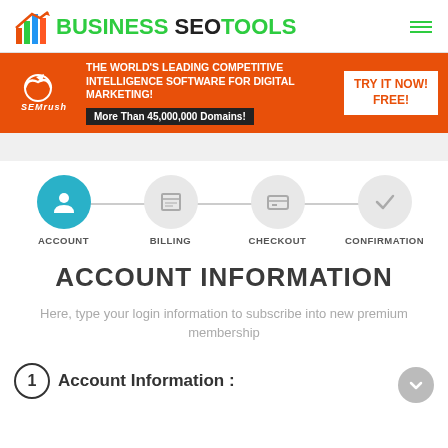[Figure (logo): Business SEO Tools logo with bar chart icon and hamburger menu]
[Figure (infographic): SEMrush banner: THE WORLD'S LEADING COMPETITIVE INTELLIGENCE SOFTWARE FOR DIGITAL MARKETING! More Than 45,000,000 Domains! TRY IT NOW! FREE!]
[Figure (infographic): Checkout steps: ACCOUNT (active, teal circle with person icon), BILLING (inactive), CHECKOUT (inactive), CONFIRMATION (inactive with checkmark)]
ACCOUNT INFORMATION
Here, type your login information to subscribe into new premium membership
1 Account Information :